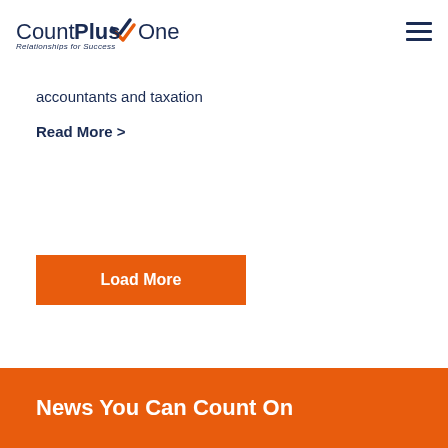[Figure (logo): CountPlusOne logo with orange and navy checkmark, tagline 'Relationships for Success']
accountants and taxation
Read More >
Load More
News You Can Count On